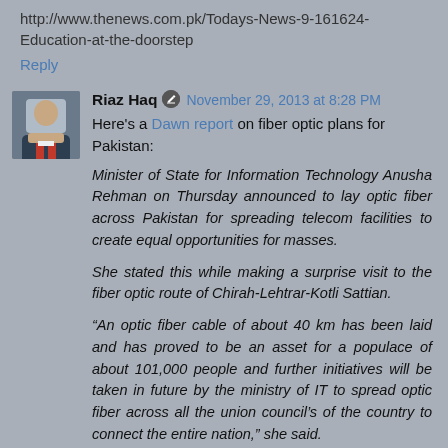http://www.thenews.com.pk/Todays-News-9-161624-Education-at-the-doorstep
Reply
Riaz Haq  November 29, 2013 at 8:28 PM
Here's a Dawn report on fiber optic plans for Pakistan:
Minister of State for Information Technology Anusha Rehman on Thursday announced to lay optic fiber across Pakistan for spreading telecom facilities to create equal opportunities for masses.
She stated this while making a surprise visit to the fiber optic route of Chirah-Lehtrar-Kotli Sattian.
“An optic fiber cable of about 40 km has been laid and has proved to be an asset for a populace of about 101,000 people and further initiatives will be taken in future by the ministry of IT to spread optic fiber across all the union council’s of the country to connect the entire nation,” she said.